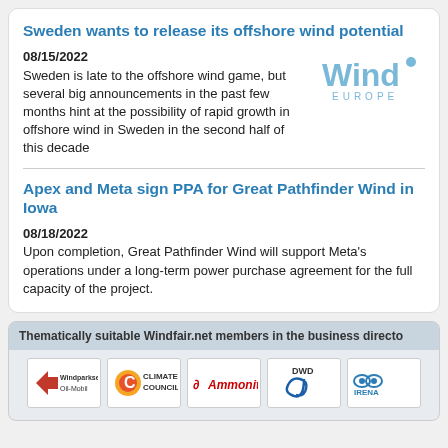Sweden wants to release its offshore wind potential
08/15/2022
Sweden is late to the offshore wind game, but several big announcements in the past few months hint at the possibility of rapid growth in offshore wind in Sweden in the second half of this decade
[Figure (logo): WindEurope logo — 'Wind' in large light blue bold text with a dot, 'EUROPE' in spaced light blue capitals below]
Apex and Meta sign PPA for Great Pathfinder Wind in Iowa
08/18/2022
Upon completion, Great Pathfinder Wind will support Meta's operations under a long-term power purchase agreement for the full capacity of the project.
Thematically suitable Windfair.net members in the business directo
[Figure (logo): Windparkservice Oil-Mobil logo]
[Figure (logo): Climate Council logo with orange C]
[Figure (logo): Ammonit logo in red italic]
[Figure (logo): DWD logo with blue spiral]
[Figure (logo): IRENA International Renewable Energy Agency logo]